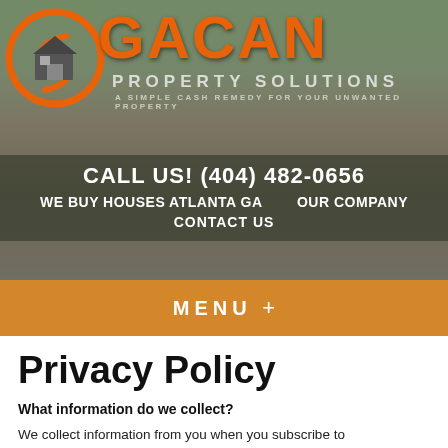[Figure (logo): GACAN Property Solutions logo with orange S-circle and house icon, overlaid on a photo of a brick house with trees]
CALL US! (404) 482-0656
WE BUY HOUSES ATLANTA GA   OUR COMPANY
CONTACT US
MENU +
Privacy Policy
What information do we collect?
We collect information from you when you subscribe to